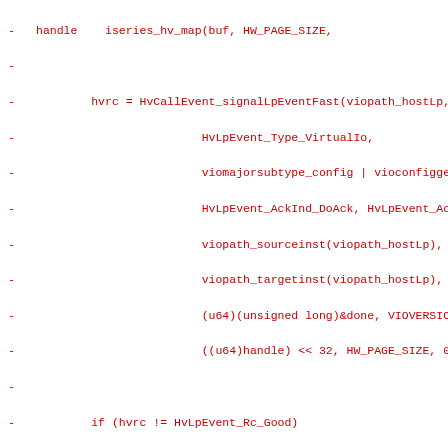Code diff showing removed lines with HvCallEvent_signalLpEventFast call, if statement, wait_for_completion, vlanMap assignment, buf operations, iseries_hv_unmap, kfree, and seq_printf calls
[Figure (screenshot): Source code diff view showing deleted lines (marked with '-') in red monospace font. Lines include HvCallEvent_signalLpEventFast function call with multiple arguments, if statement checking HvLpEvent_Rc_Good, wait_for_completion, HvLpConfig_getVirtualLanIndexMap, buffer operations, iseries_hv_unmap, kfree, and seq_printf calls.]